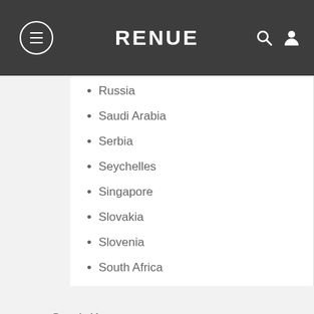RENUE
Russia
Saudi Arabia
Serbia
Seychelles
Singapore
Slovakia
Slovenia
South Africa
South Korea
Sri Lanka
Sweden
Switzerland